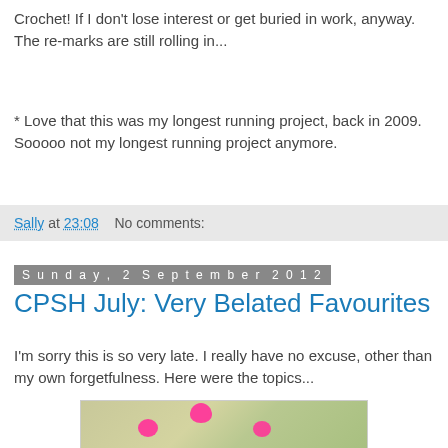Crochet! If I don't lose interest or get buried in work, anyway. The re-marks are still rolling in...
* Love that this was my longest running project, back in 2009. Sooooo not my longest running project anymore.
Sally at 23:08    No comments:
Sunday, 2 September 2012
CPSH July: Very Belated Favourites
I'm sorry this is so very late. I really have no excuse, other than my own forgetfulness. Here were the topics...
[Figure (photo): Photo of craft project cards with pink flower shapes on a green floral patterned background, with handwritten text on the pink flowers.]